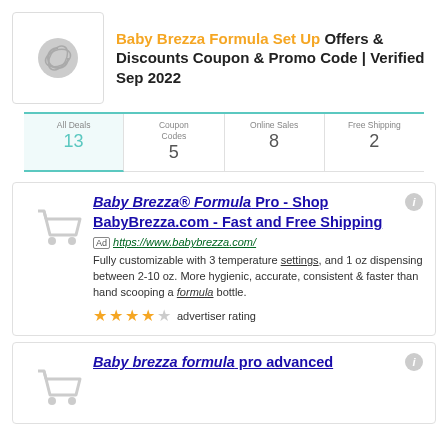Baby Brezza Formula Set Up Offers & Discounts Coupon & Promo Code | Verified Sep 2022
| All Deals | Coupon Codes | Online Sales | Free Shipping |
| --- | --- | --- | --- |
| 13 | 5 | 8 | 2 |
Baby Brezza® Formula Pro - Shop BabyBrezza.com - Fast and Free Shipping
[Ad] https://www.babybrezza.com/
Fully customizable with 3 temperature settings, and 1 oz dispensing between 2-10 oz. More hygienic, accurate, consistent & faster than hand scooping a formula bottle.
★★★★☆ advertiser rating
Baby brezza formula pro advanced